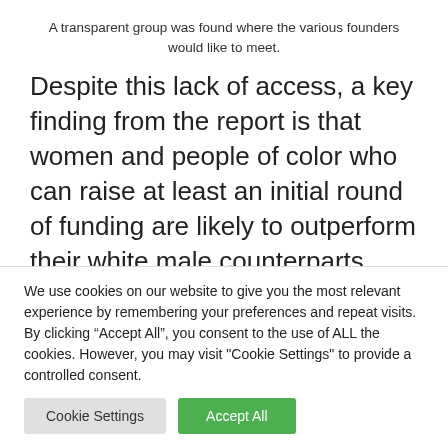A transparent group was found where the various founders would like to meet.
Despite this lack of access, a key finding from the report is that women and people of color who can raise at least an initial round of funding are likely to outperform their white male counterparts.
“It is no surprise that the under-represented
We use cookies on our website to give you the most relevant experience by remembering your preferences and repeat visits. By clicking “Accept All”, you consent to the use of ALL the cookies. However, you may visit "Cookie Settings" to provide a controlled consent.